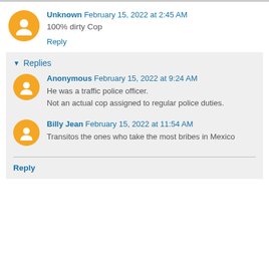Unknown February 15, 2022 at 2:45 AM
100% dirty Cop
Reply
Replies
Anonymous February 15, 2022 at 9:24 AM
He was a traffic police officer. Not an actual cop assigned to regular police duties.
Billy Jean February 15, 2022 at 11:54 AM
Transitos the ones who take the most bribes in Mexico
Reply